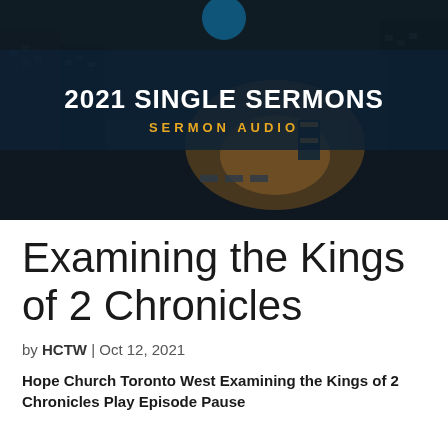[Figure (illustration): A dark urban street scene at dusk with city buildings, overlaid by a dark navy banner displaying '2021 SINGLE SERMONS' in bold white text and 'SERMON AUDIO' in gold/amber uppercase letters.]
Examining the Kings of 2 Chronicles
by HCTW | Oct 12, 2021
Hope Church Toronto West Examining the Kings of 2 Chronicles Play Episode Pause